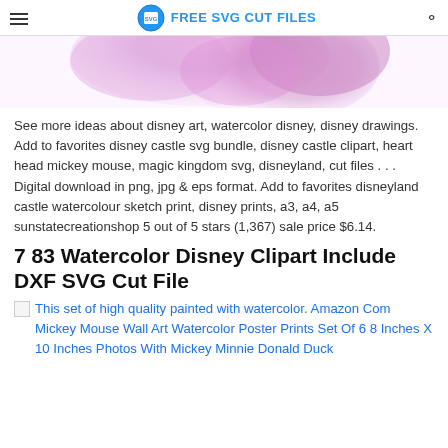FREE SVG CUT FILES
[Figure (photo): Watercolor splash image in pink/purple tones, partially visible at top]
See more ideas about disney art, watercolor disney, disney drawings. Add to favorites disney castle svg bundle, disney castle clipart, heart head mickey mouse, magic kingdom svg, disneyland, cut files . . . Digital download in png, jpg & eps format. Add to favorites disneyland castle watercolour sketch print, disney prints, a3, a4, a5 sunstatecreationshop 5 out of 5 stars (1,367) sale price $6.14.
7 83 Watercolor Disney Clipart Include DXF SVG Cut File
This set of high quality painted with watercolor. Amazon Com Mickey Mouse Wall Art Watercolor Poster Prints Set Of 6 8 Inches X 10 Inches Photos With Mickey Minnie Donald Duck